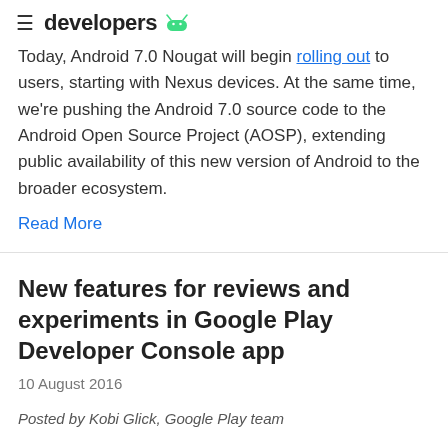developers
Today, Android 7.0 Nougat will begin rolling out to users, starting with Nexus devices. At the same time, we're pushing the Android 7.0 source code to the Android Open Source Project (AOSP), extending public availability of this new version of Android to the broader ecosystem.
Read More
New features for reviews and experiments in Google Play Developer Console app
10 August 2016
Posted by Kobi Glick, Google Play team